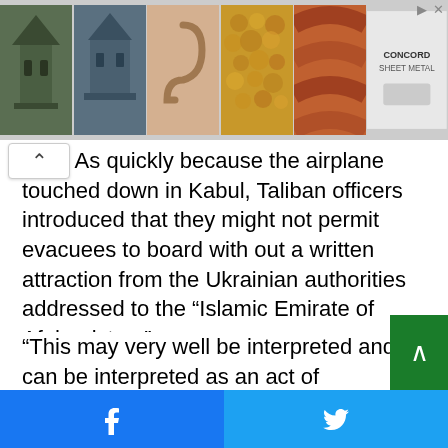[Figure (photo): Advertisement banner strip showing five product images (gazebo, cupola, copper hook, hammered copper sheet, terracotta tile) and a Concord Sheet Metal logo/ad on the right, with skip/close icons at top right.]
ning. As quickly because the airplane touched down in Kabul, Taliban officers introduced that they might not permit evacuees to board with out a written attraction from the Ukrainian authorities addressed to the “Islamic Emirate of Afghanistan.”
“This may very well be interpreted and can be interpreted as an act of recognition of their authorities, which we categorically refuse to do,” Basic Budanov mentioned.
The airplane returned to Kyiv earlier than heading again to Kabul on Sept. 19. There it sat whereas the group on the bottom and officers in Ukraine performed tense negotiations
[Figure (other): Facebook share button (blue background, white Facebook icon)]
[Figure (other): Twitter share button (light blue background, white Twitter bird icon)]